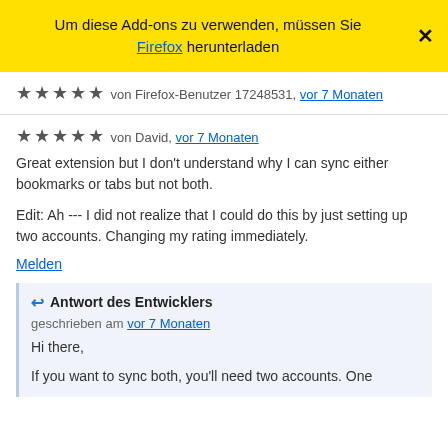Um diese Add-ons zu verwenden, müssen Sie Firefox herunterladen
★★★★★ von Firefox-Benutzer 17248531, vor 7 Monaten
★★★★★ von David, vor 7 Monaten

Great extension but I don't understand why I can sync either bookmarks or tabs but not both.

Edit: Ah --- I did not realize that I could do this by just setting up two accounts. Changing my rating immediately.
Melden
Antwort des Entwicklers

geschrieben am vor 7 Monaten

Hi there,

If you want to sync both, you'll need two accounts. One